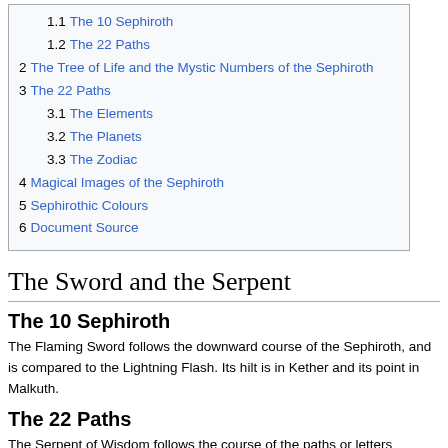1.1 The 10 Sephiroth
1.2 The 22 Paths
2 The Tree of Life and the Mystic Numbers of the Sephiroth
3 The 22 Paths
3.1 The Elements
3.2 The Planets
3.3 The Zodiac
4 Magical Images of the Sephiroth
5 Sephirothic Colours
6 Document Source
The Sword and the Serpent
The 10 Sephiroth
The Flaming Sword follows the downward course of the Sephiroth, and is compared to the Lightning Flash. Its hilt is in Kether and its point in Malkuth.
The 22 Paths
The Serpent of Wisdom follows the course of the paths or letters upwards, its head being thus in Aleph, its tails in Tau. Aleph, Mem, and Shin, are the Mother letters, referring to the Elements; Beth, Gimel, Daleth, Kaph, Pe,